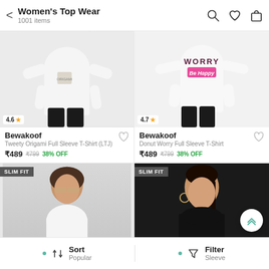Women's Top Wear — 1001 items
[Figure (photo): Product photo: white long-sleeve T-shirt with Tweety Origami graphic, model wearing black pants, rating 4.6]
Bewakoof
Tweety Origami Full Sleeve T-Shirt (LTJ)
₹489  ₹799  38% OFF
[Figure (photo): Product photo: white long-sleeve T-shirt with 'WORRY Be Happy' graphic/text, rating 4.7]
Bewakoof
Donut Worry Full Sleeve T-Shirt
₹489  ₹799  38% OFF
[Figure (photo): Product photo: SLIM FIT white T-shirt, model with bob haircut and sunglasses]
[Figure (photo): Product photo: SLIM FIT dark top, model with braided hair and hoop earrings]
Sort — Popular | Filter — Sleeve